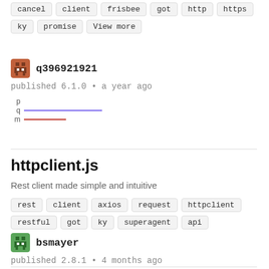cancel client frisbee got http https ky promise View more
q396921921
published 6.1.0 • a year ago
[Figure (infographic): p q m bar indicators: p empty, q purple bar, m red bar]
httpclient.js
Rest client made simple and intuitive
rest client axios request httpclient restful got ky superagent api
bsmayer
published 2.8.1 • 4 months ago
[Figure (infographic): p q m bar indicators: p tiny, q purple bar, m red bar]